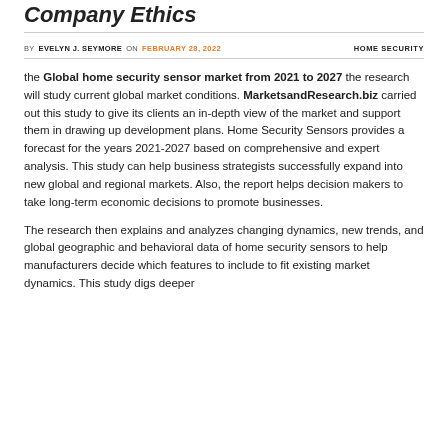Company Ethics
BY EVELYN J. SEYMORE ON FEBRUARY 28, 2022   HOME SECURITY
the Global home security sensor market from 2021 to 2027 the research will study current global market conditions. MarketsandResearch.biz carried out this study to give its clients an in-depth view of the market and support them in drawing up development plans. Home Security Sensors provides a forecast for the years 2021-2027 based on comprehensive and expert analysis. This study can help business strategists successfully expand into new global and regional markets. Also, the report helps decision makers to take long-term economic decisions to promote businesses.
The research then explains and analyzes changing dynamics, new trends, and global geographic and behavioral data of home security sensors to help manufacturers decide which features to include to fit existing market dynamics. This study digs deeper